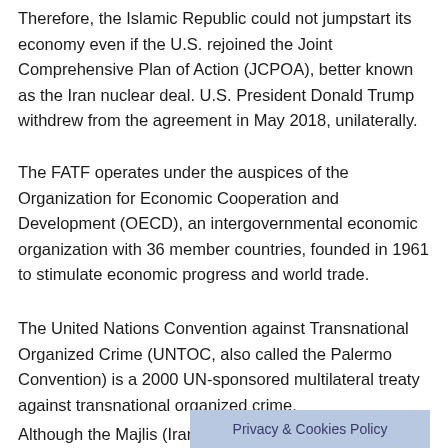Therefore, the Islamic Republic could not jumpstart its economy even if the U.S. rejoined the Joint Comprehensive Plan of Action (JCPOA), better known as the Iran nuclear deal. U.S. President Donald Trump withdrew from the agreement in May 2018, unilaterally.
The FATF operates under the auspices of the Organization for Economic Cooperation and Development (OECD), an intergovernmental economic organization with 36 member countries, founded in 1961 to stimulate economic progress and world trade.
The United Nations Convention against Transnational Organized Crime (UNTOC, also called the Palermo Convention) is a 2000 UN-sponsored multilateral treaty against transnational organized crime.
Although the Majlis (Irania… [cut off] …GET and